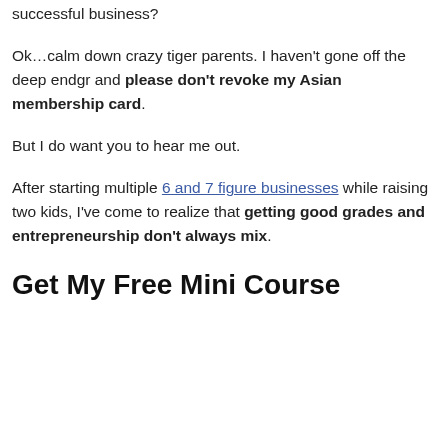successful business?
Ok…calm down crazy tiger parents. I haven't gone off the deep endgr and please don't revoke my Asian membership card.
But I do want you to hear me out.
After starting multiple 6 and 7 figure businesses while raising two kids, I've come to realize that getting good grades and entrepreneurship don't always mix.
Get My Free Mini Course